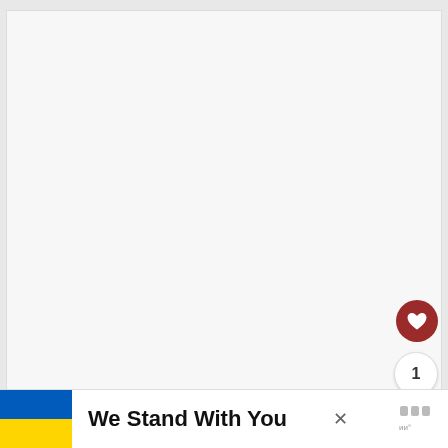[Figure (screenshot): White/light gray empty content area representing a web page document area]
[Figure (infographic): Dark red circular button with white heart icon (like/favorite button)]
1
[Figure (infographic): White circular share button with share icon and plus sign]
[Figure (infographic): Ukraine flag banner with text 'We Stand With You' and a close (x) button, with brand logo on the right]